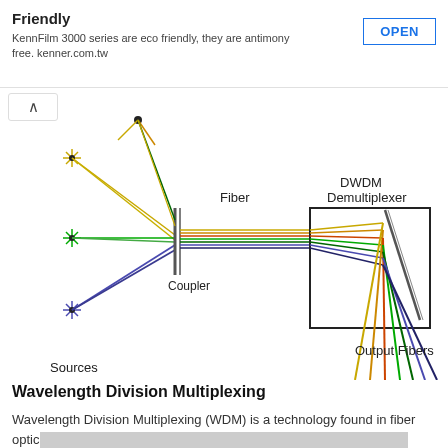Friendly
KennFilm 3000 series are eco friendly, they are antimony free. kenner.com.tw
OPEN
[Figure (engineering-diagram): DWDM Wavelength Division Multiplexing diagram showing colored light sources (yellow, green, blue/purple) going through a coupler, then through a fiber to a DWDM Demultiplexer box, which separates the wavelengths into individual output fibers fanning out below.]
Wavelength Division Multiplexing
Wavelength Division Multiplexing (WDM) is a technology found in fiber optic communications. WDM uses a ...